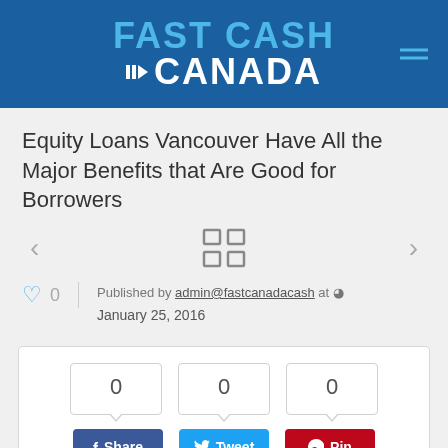FAST CASH CANADA
Equity Loans Vancouver Have All the Major Benefits that Are Good for Borrowers
Published by admin@fastcanadacash at January 25, 2016
[Figure (infographic): Social share buttons with counts: Share 0, Tweet 0, Pin 0]